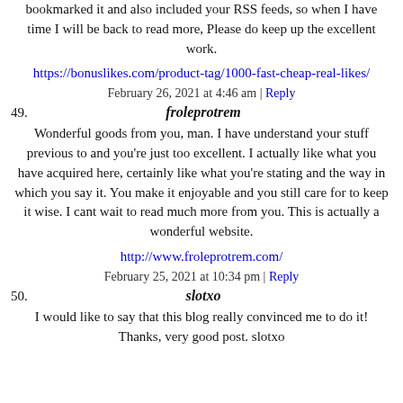bookmarked it and also included your RSS feeds, so when I have time I will be back to read more, Please do keep up the excellent work.
https://bonuslikes.com/product-tag/1000-fast-cheap-real-likes/
February 26, 2021 at 4:46 am | Reply
49. froleprotrem
Wonderful goods from you, man. I have understand your stuff previous to and you're just too excellent. I actually like what you have acquired here, certainly like what you're stating and the way in which you say it. You make it enjoyable and you still care for to keep it wise. I cant wait to read much more from you. This is actually a wonderful website.
http://www.froleprotrem.com/
February 25, 2021 at 10:34 pm | Reply
50. slotxo
I would like to say that this blog really convinced me to do it! Thanks, very good post. slotxo